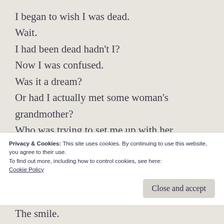I began to wish I was dead.
Wait.
I had been dead hadn't I?
Now I was confused.
Was it a dream?
Or had I actually met some woman's grandmother?
Who was trying to set me up with her granddaughter.
I groaned.
Felt a soft hand upon my arm
Privacy & Cookies: This site uses cookies. By continuing to use this website, you agree to their use.
To find out more, including how to control cookies, see here:
Cookie Policy
Close and accept
The smile.